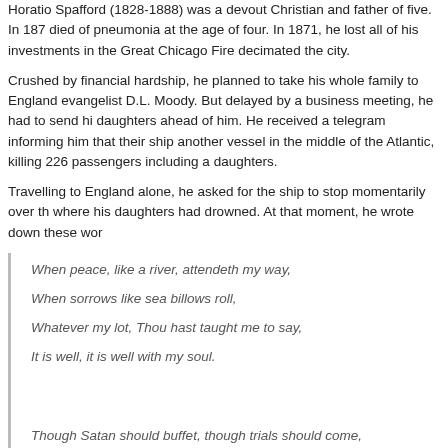Horatio Spafford (1828-1888) was a devout Christian and father of five. In 187 died of pneumonia at the age of four. In 1871, he lost all of his investments in the Great Chicago Fire decimated the city.
Crushed by financial hardship, he planned to take his whole family to England evangelist D.L. Moody. But delayed by a business meeting, he had to send hi daughters ahead of him. He received a telegram informing him that their ship another vessel in the middle of the Atlantic, killing 226 passengers including a daughters.
Travelling to England alone, he asked for the ship to stop momentarily over th where his daughters had drowned. At that moment, he wrote down these wor
When peace, like a river, attendeth my way,
When sorrows like sea billows roll,
Whatever my lot, Thou hast taught me to say,
It is well, it is well with my soul.
Though Satan should buffet, though trials should come,
Let this blest assurance control:
That Christ hath regarded my helpless estate,
And hath shed His own blood for my soul.